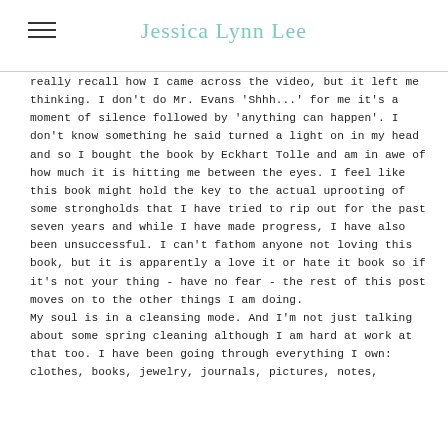Jessica Lynn Lee
really recall how I came across the video, but it left me thinking. I don't do Mr. Evans 'Shhh...' for me it's a moment of silence followed by 'anything can happen'. I don't know something he said turned a light on in my head and so I bought the book by Eckhart Tolle and am in awe of how much it is hitting me between the eyes. I feel like this book might hold the key to the actual uprooting of some strongholds that I have tried to rip out for the past seven years and while I have made progress, I have also been unsuccessful. I can't fathom anyone not loving this book, but it is apparently a love it or hate it book so if it's not your thing - have no fear - the rest of this post moves on to the other things I am doing. My soul is in a cleansing mode. And I'm not just talking about some spring cleaning although I am hard at work at that too. I have been going through everything I own: clothes, books, jewelry, journals, pictures, notes,